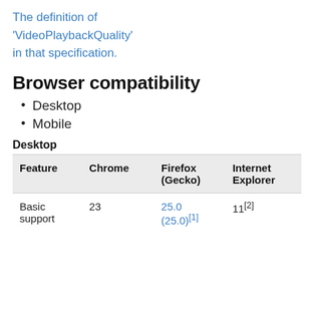The definition of 'VideoPlaybackQuality' in that specification.
Browser compatibility
Desktop
Mobile
Desktop
| Feature | Chrome | Firefox (Gecko) | Internet Explorer |
| --- | --- | --- | --- |
| Basic support | 23 | 25.0 (25.0)[1] | 11[2] |